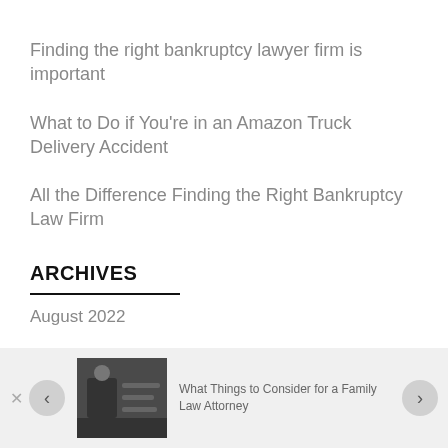Finding the right bankruptcy lawyer firm is important
What to Do if You're in an Amazon Truck Delivery Accident
All the Difference Finding the Right Bankruptcy Law Firm
ARCHIVES
August 2022
[Figure (photo): Small thumbnail image of a legal scene with person at desk]
What Things to Consider for a Family Law Attorney